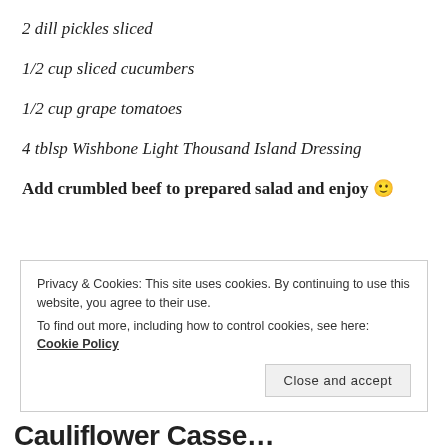2 dill pickles sliced
1/2 cup sliced cucumbers
1/2 cup grape tomatoes
4 tblsp Wishbone Light Thousand Island Dressing
Add crumbled beef to prepared salad and enjoy 🙂
Privacy & Cookies: This site uses cookies. By continuing to use this website, you agree to their use. To find out more, including how to control cookies, see here: Cookie Policy
Cauliflower Casse...